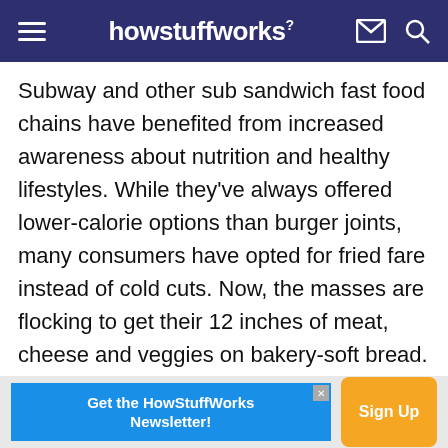howstuffworks
Subway and other sub sandwich fast food chains have benefited from increased awareness about nutrition and healthy lifestyles. While they've always offered lower-calorie options than burger joints, many consumers have opted for fried fare instead of cold cuts. Now, the masses are flocking to get their 12 inches of meat, cheese and veggies on bakery-soft bread. Skip the potato chips, and your arteries will thank you.
[Figure (infographic): Advertisement banner: 'Get the HowStuffWorks Newsletter!' with orange 'Sign Up' button on blue background]